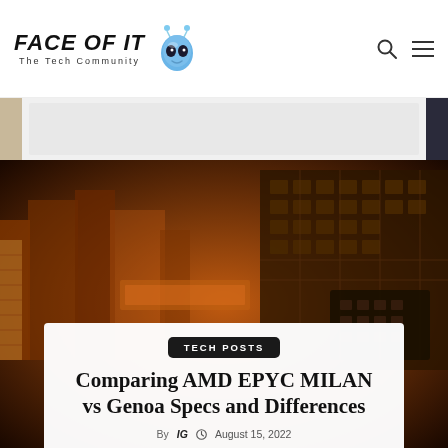FACE OF IT – The Tech Community
[Figure (photo): Dark orange-tinted photo of server/CPU hardware with circuit board details in background]
TECH POSTS
Comparing AMD EPYC MILAN vs Genoa Specs and Differences
By IG  August 15, 2022